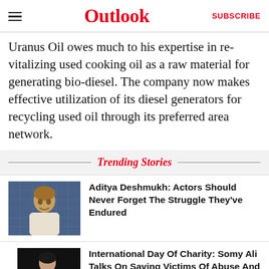Outlook  SUBSCRIBE
Uranus Oil owes much to his expertise in revitalizing used cooking oil as a raw material for generating bio-diesel. The company now makes effective utilization of its diesel generators for recycling used oil through its preferred area network.
Trending Stories
Aditya Deshmukh: Actors Should Never Forget The Struggle They've Endured
International Day Of Charity: Somy Ali Talks On Saving Victims Of Abuse And Human Trafficking